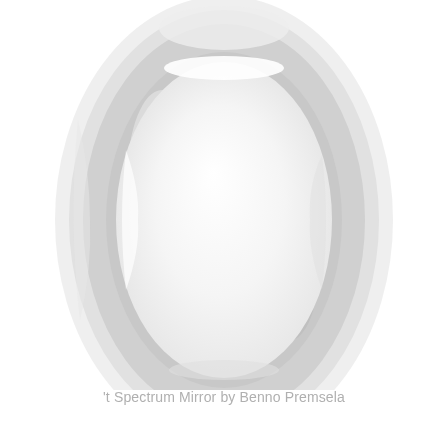[Figure (illustration): A large oval/elliptical mirror with a thick rounded light gray frame, shown partially cropped at the top. The mirror surface is white/light reflective. The frame has a glossy, three-dimensional appearance with subtle highlights and shadows.]
't Spectrum Mirror by Benno Premsela